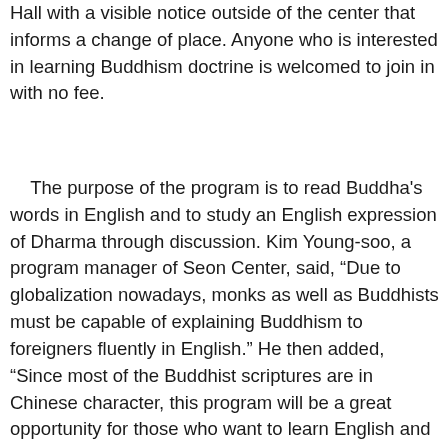Hall with a visible notice outside of the center that informs a change of place. Anyone who is interested in learning Buddhism doctrine is welcomed to join in with no fee.
The purpose of the program is to read Buddha's words in English and to study an English expression of Dharma through discussion. Kim Young-soo, a program manager of Seon Center, said, “Due to globalization nowadays, monks as well as Buddhists must be capable of explaining Buddhism to foreigners fluently in English.” He then added, “Since most of the Buddhist scriptures are in Chinese character, this program will be a great opportunity for those who want to learn English and experience Dharma in their lives.”